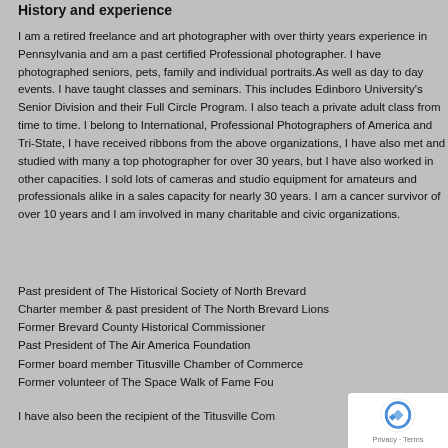History and experience
I am a retired freelance and art photographer with over thirty years experience in Pennsylvania and am a past certified Professional photographer. I have photographed seniors, pets, family and individual portraits.As well as day to day events. I have taught classes and seminars. This includes Edinboro University's Senior Division and their Full Circle Program. I also teach a private adult class from time to time. I belong to International, Professional Photographers of America and Tri-State, I have received ribbons from the above organizations, I have also met and studied with many a top photographer for over 30 years, but I have also worked in other capacities. I sold lots of cameras and studio equipment for amateurs and professionals alike in a sales capacity for nearly 30 years. I am a cancer survivor of over 10 years and I am involved in many charitable and civic organizations.
Past president of The Historical Society of North Brevard
Charter member & past president of The North Brevard Lions
Former Brevard County Historical Commissioner
Past President of The Air America Foundation
Former board member Titusville Chamber of Commerce
Former volunteer of The Space Walk of Fame Fou
I have also been the recipient of the Titusville Com